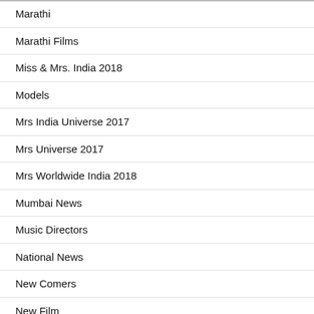Marathi
Marathi Films
Miss & Mrs. India 2018
Models
Mrs India Universe 2017
Mrs Universe 2017
Mrs Worldwide India 2018
Mumbai News
Music Directors
National News
New Comers
New Film
New Films